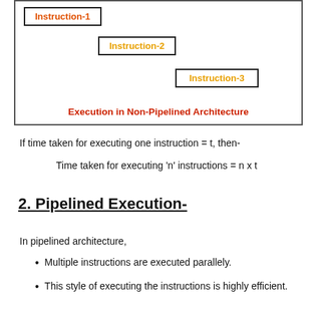[Figure (schematic): Non-pipelined architecture diagram showing three instruction boxes (Instruction-1, Instruction-2, Instruction-3) arranged sequentially in a stepped/staircase pattern, with label 'Execution in Non-Pipelined Architecture' at the bottom.]
If time taken for executing one instruction = t, then-
Time taken for executing 'n' instructions = n x t
2. Pipelined Execution-
In pipelined architecture,
Multiple instructions are executed parallely.
This style of executing the instructions is highly efficient.